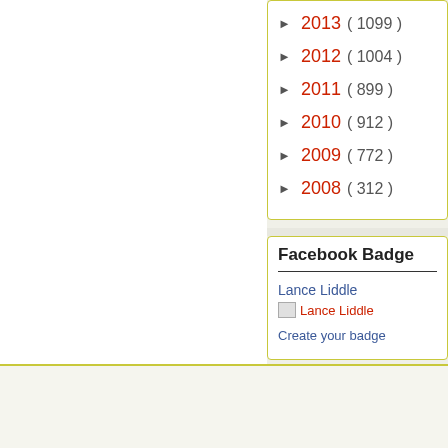► 2013 ( 1099 )
► 2012 ( 1004 )
► 2011 ( 899 )
► 2010 ( 912 )
► 2009 ( 772 )
► 2008 ( 312 )
Facebook Badge
Lance Liddle
[Figure (other): Lance Liddle Facebook profile image placeholder]
Create your badge